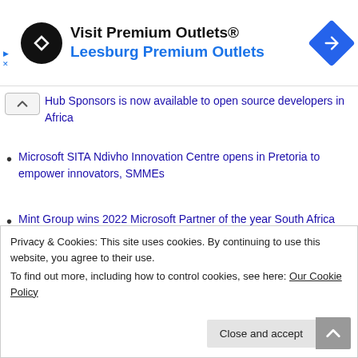[Figure (logo): Visit Premium Outlets® ad banner with circular black logo with double arrow, text 'Visit Premium Outlets®' and 'Leesburg Premium Outlets' in blue, and a blue diamond navigation icon]
Hub Sponsors is now available to open source developers in Africa
Microsoft SITA Ndivho Innovation Centre opens in Pretoria to empower innovators, SMMEs
Mint Group wins 2022 Microsoft Partner of the year South Africa country award
Safaricom, Microsoft launch Digital Talent Program to address talent shortage
Privacy & Cookies: This site uses cookies. By continuing to use this website, you agree to their use.
To find out more, including how to control cookies, see here: Our Cookie Policy